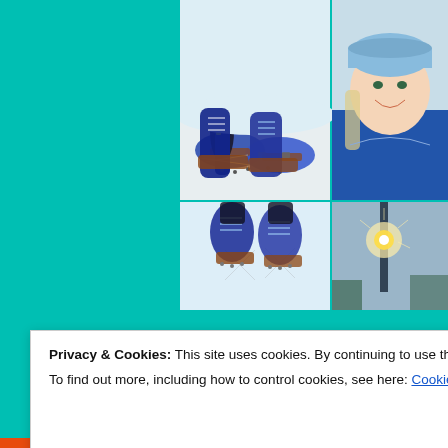[Figure (photo): A 2x2 photo grid showing winter running shoes/cleats with ice traction devices on snowy ground. Top-left: close-up of shoes with metal cleats on snow. Top-right: smiling woman in blue winter hat and jacket. Bottom-left: overhead view of two shoes with traction cleats making X marks in the snow. Bottom-right: partial image of a lamp post or light in winter.]
Privacy & Cookies: This site uses cookies. By continuing to use this website, you agree to their use.
To find out more, including how to control cookies, see here: Cookie Policy
Close and accept